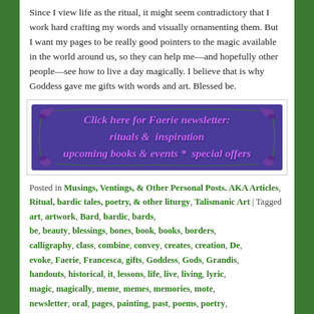Since I view life as the ritual, it might seem contradictory that I work hard crafting my words and visually ornamenting them. But I want my pages to be really good pointers to the magic available in the world around us, so they can help me—and hopefully other people—see how to live a day magically. I believe that is why Goddess gave me gifts with words and art. Blessed be.
[Figure (other): Purple banner with floral border decoration reading: 'Click here for Faerie newsletter: rituals & inspiration upcoming books & events * special offers']
Posted in Musings, Ventings, & Other Personal Posts. AKA Articles, Ritual, bardic tales, poetry, & other liturgy, Talismanic Art | Tagged art, artwork, Bard, bardic, bards, be, beauty, blessings, bones, book, books, borders, calligraphy, class, combine, convey, creates, creation, De, evoke, Faerie, Francesca, gifts, Goddess, Gods, Grandis, handouts, historical, it, lessons, life, live, living, lyric, magic, magically, meme, memes, memories, mote, newsletter, oral, pages, painting, past, poems, poetry, primitive, prose, prose-poems, queen, ritual, rituals,